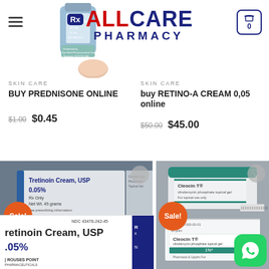[Figure (screenshot): AllCare Pharmacy website header with logo, hamburger menu, and shopping cart showing 0 items. Background shows blurred pill bottle and tablet image.]
SKIN CARE
BUY PREDNISONE ONLINE
$1.00  $0.45
SKIN CARE
buy RETINO-A CREAM 0,05 online
$50.00  $45.00
[Figure (photo): Tretinoin Cream USP 0.05% product photo with Sale! badge and heart wishlist button. Shows cream tube packaging.]
[Figure (photo): Cleocin T clindamycin phosphate topical gel product photo with Sale! badge and heart wishlist button.]
[Figure (photo): Large close-up of Tretinoin Cream USP 0.05% package (NDC 43478-242-45) by Rouses Point Pharmaceuticals.]
[Figure (photo): WhatsApp contact button (green rounded square icon) in bottom right corner.]